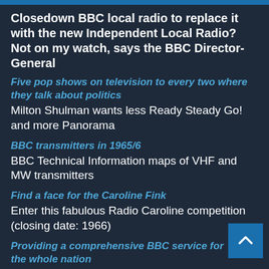Closedown BBC local radio to replace it with the new Independent Local Radio? Not on my watch, says the BBC Director-General
Five pop shows on television to every two where they talk about politics
Milton Shulman wants less Ready Steady Go! and more Panorama
BBC transmitters in 1965/6
BBC Technical Information maps of VHF and MW transmitters
Find a face for the Caroline Fink
Enter this fabulous Radio Caroline competition (closing date: 1966)
Providing a comprehensive BBC service for the whole nation
In the Public Interest 1/6: Charles Curran on the